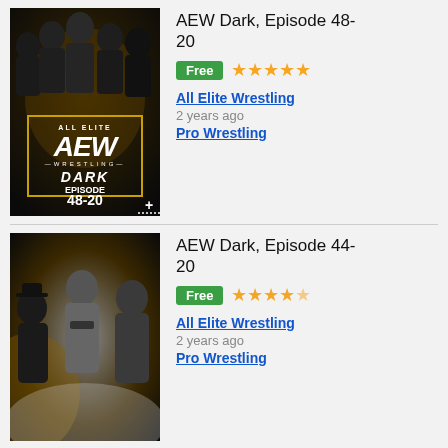[Figure (photo): AEW Dark Episode 48-20 promotional thumbnail showing wrestlers with AEW logo]
AEW Dark, Episode 48-20
Free ★★★★★
All Elite Wrestling
2 years ago
Pro Wrestling
[Figure (photo): AEW Dark Episode 44-20 promotional thumbnail showing female wrestlers]
AEW Dark, Episode 44-20
Free ★★★★½
All Elite Wrestling
2 years ago
Pro Wrestling